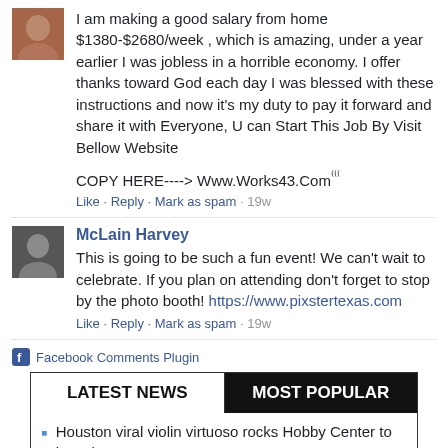I am making a good salary from home $1380-$2680/week , which is amazing, under a year earlier I was jobless in a horrible economy. I offer thanks toward God each day I was blessed with these instructions and now it's my duty to pay it forward and share it with Everyone, U can Start This Job By Visit Bellow Website
COPY HERE----> Www.Works43.Com
Like · Reply · Mark as spam · 19w
McLain Harvey
This is going to be such a fun event! We can't wait to celebrate. If you plan on attending don't forget to stop by the photo booth! https://www.pixstertexas.com
Like · Reply · Mark as spam · 19w
Facebook Comments Plugin
LATEST NEWS
MOST POPULAR
Houston viral violin virtuoso rocks Hobby Center to launch U.S. tour
New…